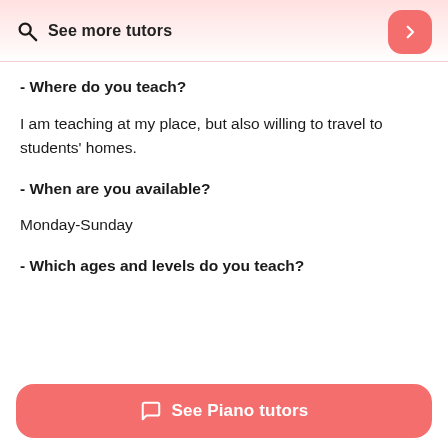See more tutors
- Where do you teach?
I am teaching at my place, but also willing to travel to students' homes.
- When are you available?
Monday-Sunday
- Which ages and levels do you teach?
See Piano tutors